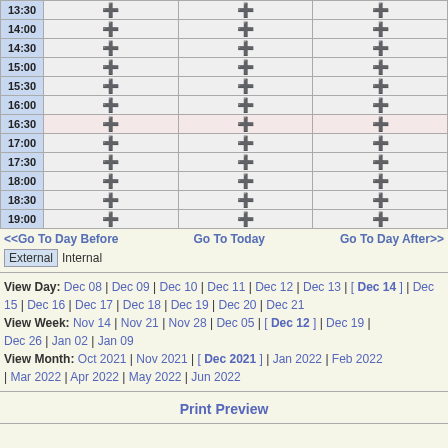| Time | Col1 | Col2 | Col3 |
| --- | --- | --- | --- |
| 13:30 | + | + | + |
| 14:00 | + | + | + |
| 14:30 | + | + | + |
| 15:00 | + | + | + |
| 15:30 | + | + | + |
| 16:00 | + | + | + |
| 16:30 | + | + | + |
| 17:00 | + | + | + |
| 17:30 | + | + | + |
| 18:00 | + | + | + |
| 18:30 | + | + | + |
| 19:00 | + | + | + |
<<Go To Day Before  Go To Today  Go To Day After>>
External Internal
View Day: Dec 08 | Dec 09 | Dec 10 | Dec 11 | Dec 12 | Dec 13 | [ Dec 14 ] | Dec 15 | Dec 16 | Dec 17 | Dec 18 | Dec 19 | Dec 20 | Dec 21
View Week: Nov 14 | Nov 21 | Nov 28 | Dec 05 | [ Dec 12 ] | Dec 19 | Dec 26 | Jan 02 | Jan 09
View Month: Oct 2021 | Nov 2021 | [ Dec 2021 ] | Jan 2022 | Feb 2022 | Mar 2022 | Apr 2022 | May 2022 | Jun 2022
Print Preview